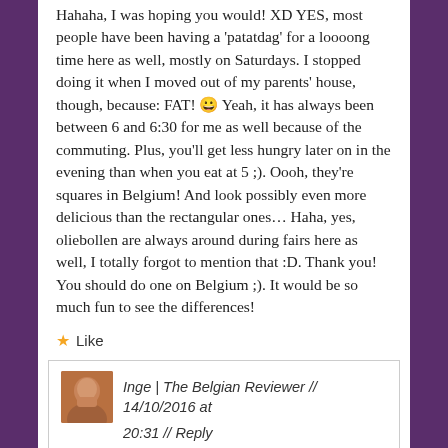Hahaha, I was hoping you would! XD YES, most people have been having a 'patatdag' for a loooong time here as well, mostly on Saturdays. I stopped doing it when I moved out of my parents' house, though, because: FAT! 😀 Yeah, it has always been between 6 and 6:30 for me as well because of the commuting. Plus, you'll get less hungry later on in the evening than when you eat at 5 ;). Oooh, they're squares in Belgium! And look possibly even more delicious than the rectangular ones... Haha, yes, oliebollen are always around during fairs here as well, I totally forgot to mention that :D. Thank you! You should do one on Belgium ;). It would be so much fun to see the differences!
★ Like
Inge | The Belgian Reviewer // 14/10/2016 at 20:31 // Reply